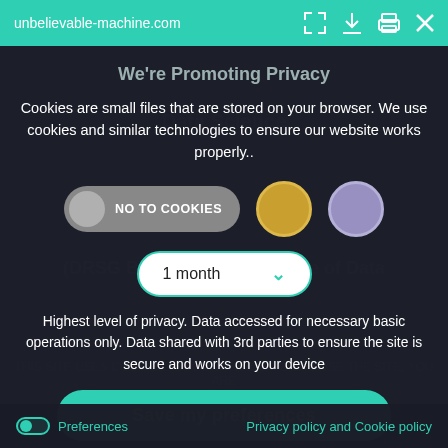unbelievable-machine.com
We're Promoting Privacy
Cookies are small files that are stored on your browser. We use cookies and similar technologies to ensure our website works properly..
[Figure (infographic): Toggle button labeled NO TO COOKIES with gray circle, plus two color selection dots (gold and purple)]
[Figure (infographic): Dropdown selector showing '1 month' with teal border and chevron arrow]
Highest level of privacy. Data accessed for necessary basic operations only. Data shared with 3rd parties to ensure the site is secure and works on your device
[Figure (infographic): Green rounded button labeled 'Save my preferences']
Preferences   Privacy policy and Cookie policy